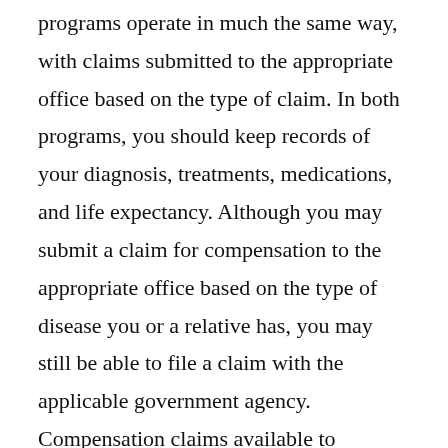programs operate in much the same way, with claims submitted to the appropriate office based on the type of claim. In both programs, you should keep records of your diagnosis, treatments, medications, and life expectancy. Although you may submit a claim for compensation to the appropriate office based on the type of disease you or a relative has, you may still be able to file a claim with the applicable government agency. Compensation claims available to asbestos claims can be sent to various offices, including those located inside the United States, but may take a bit longer to reach a judgment.
Typically, compensation for asbestos exposure will include both medical payments and monetary damages